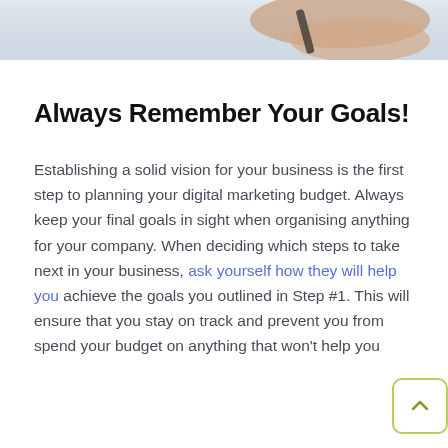[Figure (photo): Partial photo showing hands or objects on a light surface, cropped at top of page]
Always Remember Your Goals!
Establishing a solid vision for your business is the first step to planning your digital marketing budget. Always keep your final goals in sight when organising anything for your company. When deciding which steps to take next in your business, ask yourself how they will help you achieve the goals you outlined in Step #1. This will ensure that you stay on track and prevent you from spend your budget on anything that won't help you